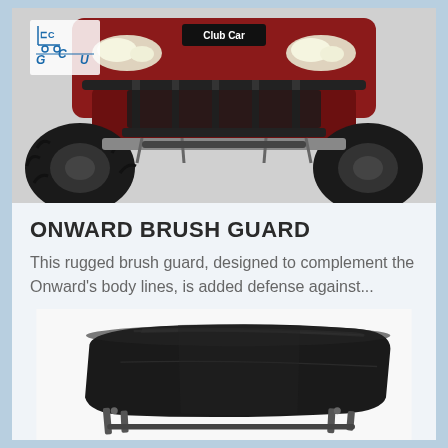[Figure (logo): GCU Golf Cart logo with stylized cart icon and letters G, C, U]
[Figure (photo): Front view of a red Club Car Onward golf cart/utility vehicle with brush guard, large off-road tires, and LED headlights]
ONWARD BRUSH GUARD
This rugged brush guard, designed to complement the Onward's body lines, is added defense against...
[Figure (photo): Black hard-top roof/enclosure accessory for a Club Car golf cart, shown at an angle against white background]